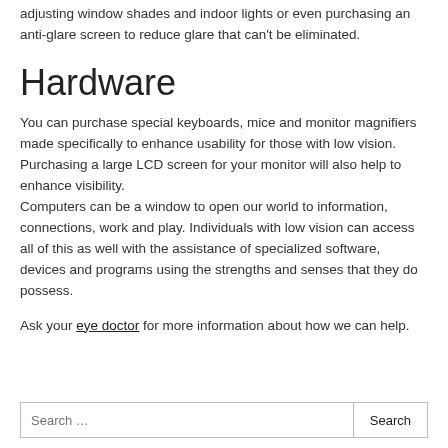adjusting window shades and indoor lights or even purchasing an anti-glare screen to reduce glare that can't be eliminated.
Hardware
You can purchase special keyboards, mice and monitor magnifiers made specifically to enhance usability for those with low vision. Purchasing a large LCD screen for your monitor will also help to enhance visibility. Computers can be a window to open our world to information, connections, work and play. Individuals with low vision can access all of this as well with the assistance of specialized software, devices and programs using the strengths and senses that they do possess.
Ask your eye doctor for more information about how we can help.